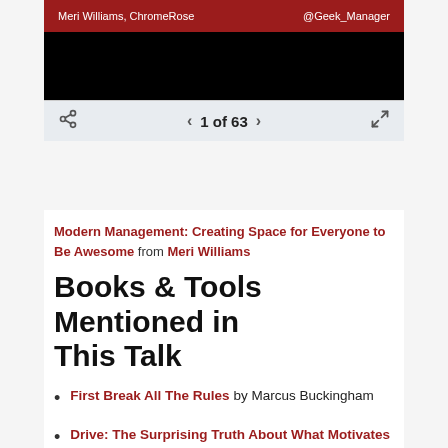[Figure (screenshot): Slide viewer interface showing a dark slide with red header bar reading 'Meri Williams, ChromeRose' on left and '@Geek_Manager' on right, black slide content area, and navigation bar showing '1 of 63' with share and fullscreen icons]
Modern Management: Creating Space for Everyone to Be Awesome from Meri Williams
Books & Tools Mentioned in This Talk
First Break All The Rules by Marcus Buckingham
Drive: The Surprising Truth About What Motivates Us by Daniel Pink